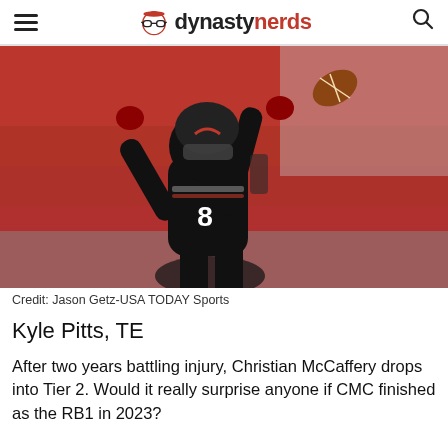dynasty nerds
[Figure (photo): Atlanta Falcons player #8 Kyle Pitts in black uniform reaching up to catch a football, red stadium seats in background. Credit: Jason Getz-USA TODAY Sports]
Credit: Jason Getz-USA TODAY Sports
Kyle Pitts, TE
After two years battling injury, Christian McCaffery drops into Tier 2. Would it really surprise anyone if CMC finished as the RB1 in 2023?